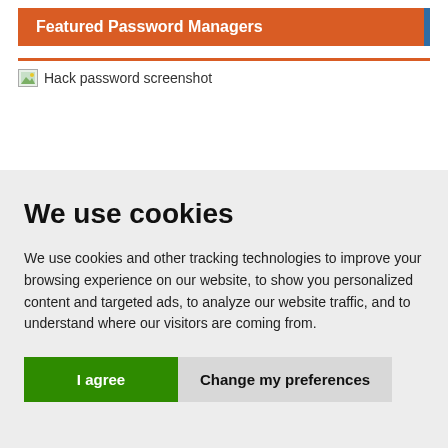Featured Password Managers
[Figure (screenshot): Hack password screenshot image placeholder]
We use cookies
We use cookies and other tracking technologies to improve your browsing experience on our website, to show you personalized content and targeted ads, to analyze our website traffic, and to understand where our visitors are coming from.
I agree | Change my preferences